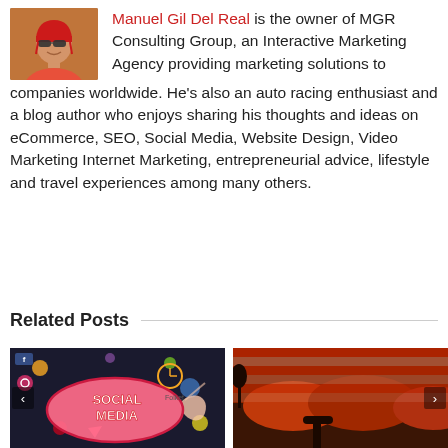[Figure (photo): Photo of Manuel Gil Del Real wearing cycling/racing helmet and sunglasses]
Manuel Gil Del Real is the owner of MGR Consulting Group, an Interactive Marketing Agency providing marketing solutions to companies worldwide. He's also an auto racing enthusiast and a blog author who enjoys sharing his thoughts and ideas on eCommerce, SEO, Social Media, Website Design, Video Marketing Internet Marketing, entrepreneurial advice, lifestyle and travel experiences among many others.
Related Posts
[Figure (photo): Social Media illustration with speech bubble saying SOCIAL MEDIA and various icons]
[Figure (photo): Red/orange landscape or abstract photo with American flag elements]